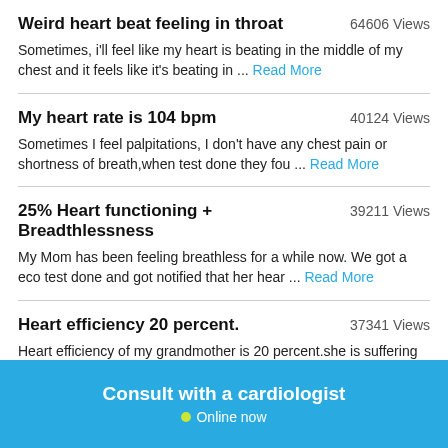Weird heart beat feeling in throat — 64606 Views. Sometimes, i'll feel like my heart is beating in the middle of my chest and it feels like it's beating in ... Read More
My heart rate is 104 bpm — 40124 Views. Sometimes I feel palpitations, I don't have any chest pain or shortness of breath,when test done they fou ... Read More
25% Heart functioning + Breadthlessness — 39211 Views. My Mom has been feeling breathless for a while now. We got a eco test done and got notified that her hear ... Read More
Heart efficiency 20 percent. — 37341 Views. Heart efficiency of my grandmother is 20 percent.she is suffering from jaundice
Consult with a cardiologist • Online now